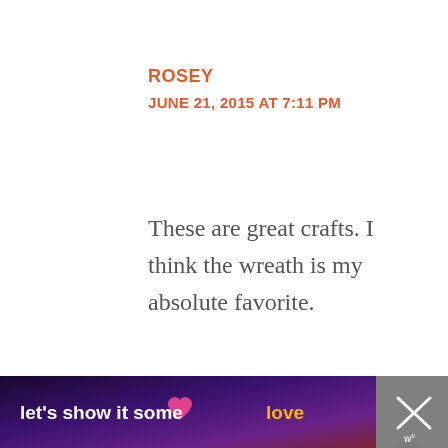ROSEY
JUNE 21, 2015 AT 7:11 PM
These are great crafts. I think the wreath is my absolute favorite.
Reply
MYRAH - COUPON MAMACITA
JUNE 21, 2015 AT 8:35 PM
[Figure (infographic): Bottom ad bar with text: let's show it some love, with pink heart icon, on dark purple gradient background. Close button on right with X symbol.]